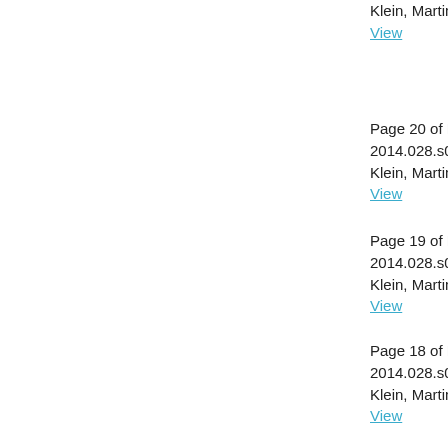Klein, Martin
View
Page 20 of Kron
2014.028.s0159
Klein, Martin
View
Page 19 of Kron
2014.028.s0160
Klein, Martin
View
Page 18 of Kron
2014.028.s0161
Klein, Martin
View
Page 17 of Kron
2014.028.s0162
Klein, Martin
View